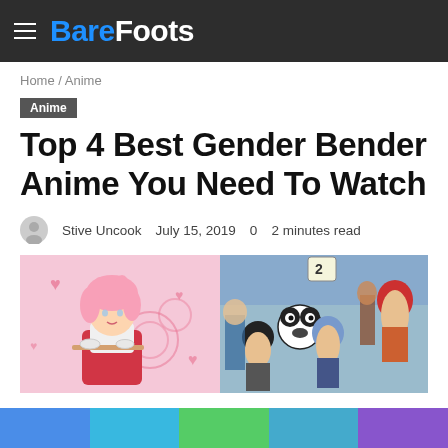BareFoots
Home / Anime
Anime
Top 4 Best Gender Bender Anime You Need To Watch
Stive Uncook   July 15, 2019   0   2 minutes read
[Figure (photo): Two anime images side by side: left shows a pink-haired anime girl in a red apron serving tea on a pink heart-themed background; right shows a colorful crowd scene from Ranma 1/2 anime with multiple characters including a panda.]
Color bar footer with blue, cyan, green, teal, purple segments